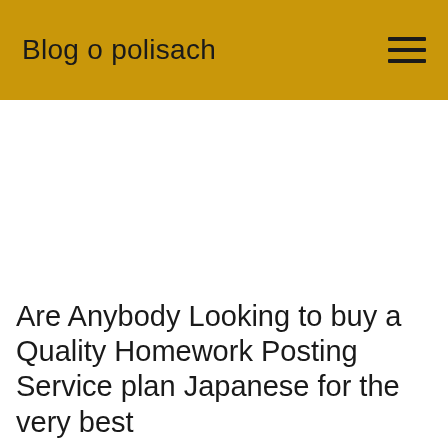Blog o polisach
Are Anybody Looking to buy a Quality Homework Posting Service plan Japanese for the very best